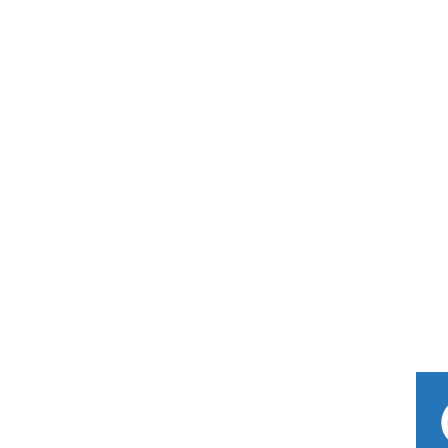Dick S
June 7, 2...
Anothe... up to fig...
[Figure (illustration): Blue square avatar with white power button icon]
Indigo Ste...
June 8, 2013
I like this th... villain in a m... see him for...
[Figure (photo): Tiger face avatar image]
Aita
June 7, 2013, 6:24 pm | #
Thanks for sticking up fo... my fellow commenters, e...
So... fuck yeah, dude, ke...
[Figure (illustration): Blue square avatar with white power button icon]
ravenclawrebel
June 7, 2013, 7:05 pm | #
For a moment there I tho... out.
[Figure (illustration): Blue square avatar with white power button icon]